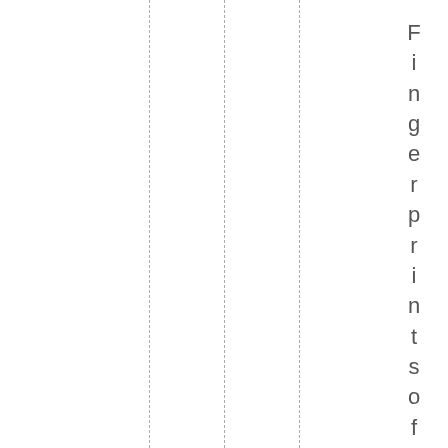Fingerprints of climate change